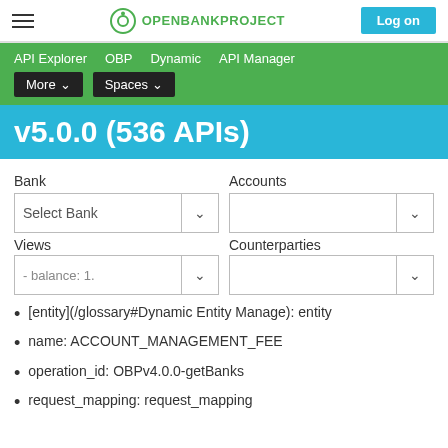OPENBANKPROJECT — Log on
API Explorer  OBP  Dynamic  API Manager  More  Spaces
v5.0.0 (536 APIs)
Bank   Accounts   Select Bank   Views   Counterparties   - balance: 1.
[entity](/glossary#Dynamic Entity Manage): entity
name: ACCOUNT_MANAGEMENT_FEE
operation_id: OBPv4.0.0-getBanks
request_mapping: request_mapping